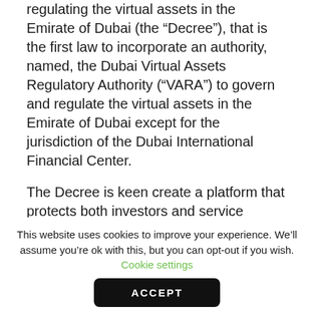regulating the virtual assets in the Emirate of Dubai (the “Decree”), that is the first law to incorporate an authority, named, the Dubai Virtual Assets Regulatory Authority (“VARA”) to govern and regulate the virtual assets in the Emirate of Dubai except for the jurisdiction of the Dubai International Financial Center.
The Decree is keen create a platform that protects both investors and service providers in virtual assets, and to curb illegal practices in coordination with the concerned entities, as per its internal regulations for the sake of protecting investors, dealers and third parties dealing with such service provider(s) to cover and protect the virtual assets’ trading from any
This website uses cookies to improve your experience. We’ll assume you’re ok with this, but you can opt-out if you wish. Cookie settings
ACCEPT